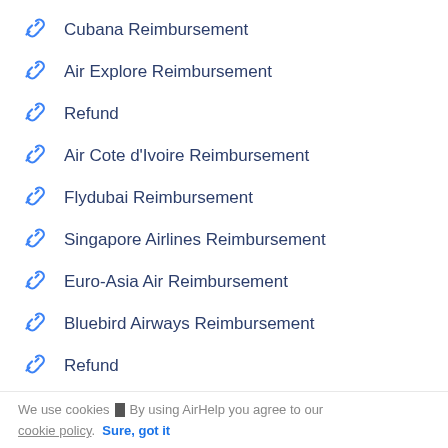Cubana Reimbursement
Air Explore Reimbursement
Refund
Air Cote d'Ivoire Reimbursement
Flydubai Reimbursement
Singapore Airlines Reimbursement
Euro-Asia Air Reimbursement
Bluebird Airways Reimbursement
Refund
Refund
We use cookies ▮ By using AirHelp you agree to our cookie policy. Sure, got it